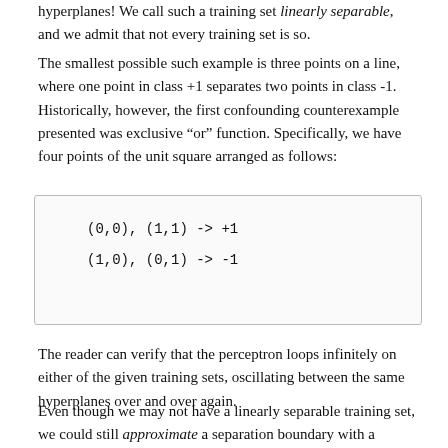hyperplanes! We call such a training set linearly separable, and we admit that not every training set is so.
The smallest possible such example is three points on a line, where one point in class +1 separates two points in class -1. Historically, however, the first confounding counterexample presented was exclusive “or” function. Specifically, we have four points of the unit square arranged as follows:
(0,0), (1,1) -> +1
(1,0), (0,1) -> -1
The reader can verify that the perceptron loops infinitely on either of the given training sets, oscillating between the same hyperplanes over and over again.
Even though we may not have a linearly separable training set, we could still approximate a separation boundary with a hyperplane. Thus, we’d want to minimize the number of misclassifications of a hyperplane with respect to that